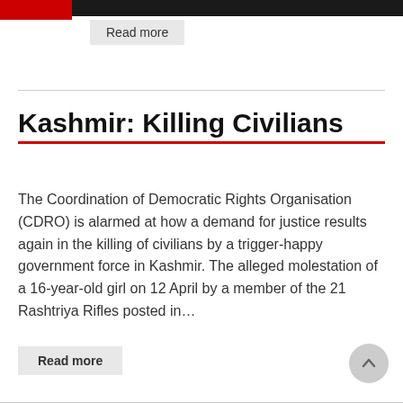Read more
Kashmir: Killing Civilians
The Coordination of Democratic Rights Organisation (CDRO) is alarmed at how a demand for justice results again in the killing of civilians by a trigger-happy government force in Kashmir. The alleged molestation of a 16-year-old girl on 12 April by a member of the 21 Rashtriya Rifles posted in...
Read more